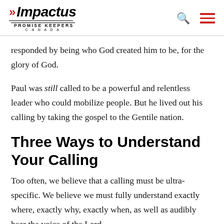Impactus Promise Keepers Canada
responded by being who God created him to be, for the glory of God.
Paul was still called to be a powerful and relentless leader who could mobilize people. But he lived out his calling by taking the gospel to the Gentile nation.
Three Ways to Understand Your Calling
Too often, we believe that a calling must be ultra-specific. We believe we must fully understand exactly where, exactly why, exactly when, as well as audibly hear the voice of the Lord.